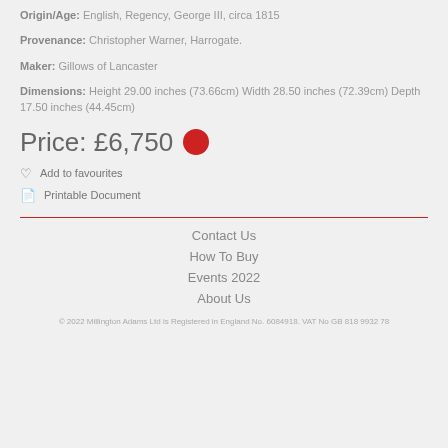Origin/Age: English, Regency, George III, circa 1815
Provenance: Christopher Warner, Harrogate.
Maker: Gillows of Lancaster
Dimensions: Height 29.00 inches (73.66cm) Width 28.50 inches (72.39cm) Depth 17.50 inches (44.45cm)
Price: £6,750
Add to favourites
Printable Document
Contact Us
How To Buy
Events 2022
About Us
© 2022 Millington Adams Ltd is Registered in England No. 6084918. VAT No GB 818 9932 78